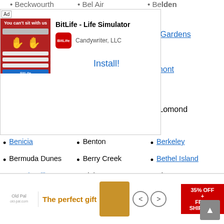Beckwourth
Bel Air
Belden
[Figure (screenshot): Advertisement overlay for BitLife - Life Simulator app by Candywriter, LLC with Install button]
Bell Gardens
Belmont
Ben Lomond
Benicia
Benton
Berkeley
Bermuda Dunes
Berry Creek
Bethel Island
Beverly Hills
Bieber
Big Bar
Big Bear City
Big Bear Lake
Big Bend
Big Creek
Big Oak Flat
Big Pine
Big River
Big Sur
Biggs
Biola
Birds Landing
Bishop
Blairsden
Blocksburg
Bloomington
[Figure (screenshot): Bottom advertisement banner for The perfect gift with 35% OFF + FREE SHIPPING promotion]